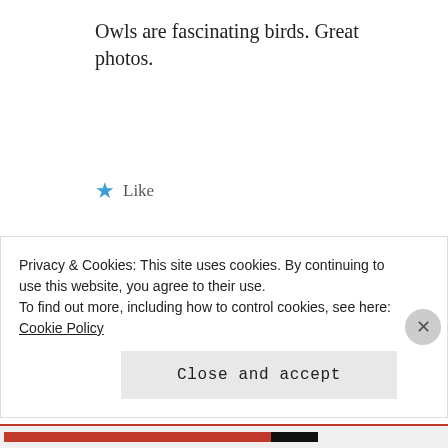Owls are fascinating birds. Great photos.
★ Like
JUNE 8, 2013 AT 6:28 PM | REPLY
PHOTOGRAPHY★ JOURNAL BLOG says:
It is amazing too the variety they
Privacy & Cookies: This site uses cookies. By continuing to use this website, you agree to their use. To find out more, including how to control cookies, see here: Cookie Policy
Close and accept